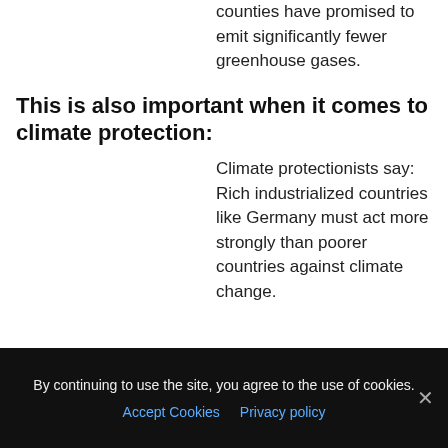counties have promised to emit significantly fewer greenhouse gases.
This is also important when it comes to climate protection:
Climate protectionists say: Rich industrialized countries like Germany must act more strongly than poorer countries against climate change.
Like this post? Please share to your friends:
By continuing to use the site, you agree to the use of cookies.
Accept Cookies   Privacy policy